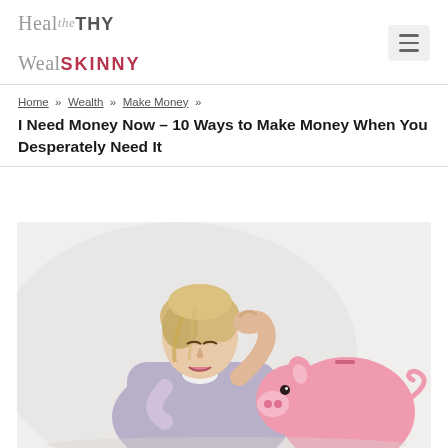Healthy Wealthly Skinny — navigation logo and hamburger menu
Home » Wealth » Make Money »
I Need Money Now – 10 Ways to Make Money When You Desperately Need It
[Figure (photo): Woman with blonde hair looking stressed, leaning over a pink piggy bank on a light gray background]